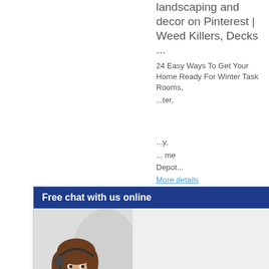landscaping and decor on Pinterest | Weed Killers, Decks ...
24 Easy Ways To Get Your Home Ready For Winter Task Rooms, ...ter, ...y, ... Home Depot...
More details
» Get Price
[Figure (screenshot): Chat widget overlay with header 'Free chat with us online', a close button (X), an image of a female customer service agent wearing a headset, and a 'CHAT NOW' button on a blue background.]
Product for screening soil - GardenWeb
May 2, 2010 ... Up close I've only